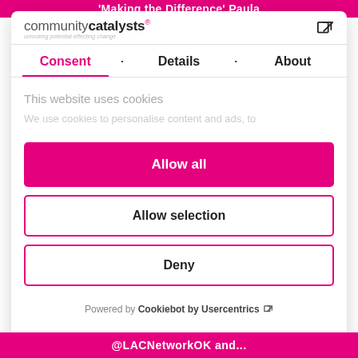'Making the Difference' Paula
[Figure (logo): Community Catalysts logo with tagline 'unlocking potential effecting change']
Consent • Details • About
This website uses cookies
We use cookies to personalise content and ads, to
Allow all
Allow selection
Deny
Powered by Cookiebot by Usercentrics
@LACNetworkOK and...